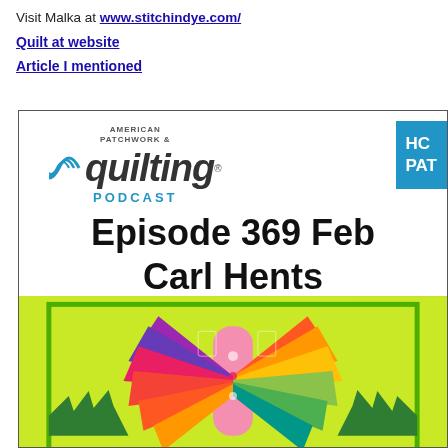Visit Malka at www.stitchindye.com/
Quilt at website
Article I mentioned
[Figure (illustration): American Patchwork & Quilting Podcast banner image showing Episode 369 with Carl Hents, featuring a colorful bird/fan quilt on a yellow-green background]